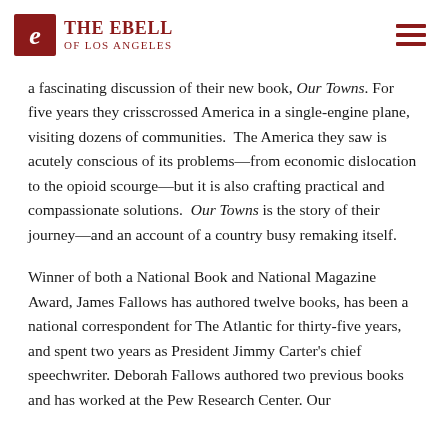THE EBELL OF LOS ANGELES
a fascinating discussion of their new book, Our Towns. For five years they crisscrossed America in a single-engine plane, visiting dozens of communities.  The America they saw is acutely conscious of its problems—from economic dislocation to the opioid scourge—but it is also crafting practical and compassionate solutions.  Our Towns is the story of their journey—and an account of a country busy remaking itself.
Winner of both a National Book and National Magazine Award, James Fallows has authored twelve books, has been a national correspondent for The Atlantic for thirty-five years, and spent two years as President Jimmy Carter's chief speechwriter. Deborah Fallows authored two previous books and has worked at the Pew Research Center. Our...